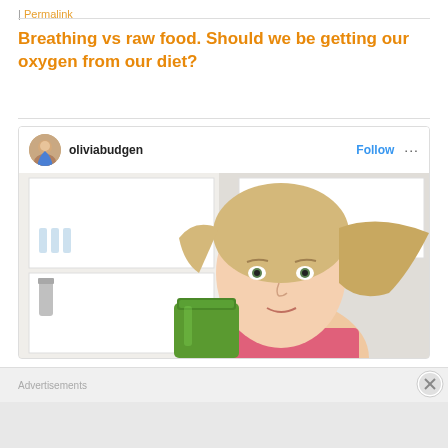| Permalink
Breathing vs raw food. Should we be getting our oxygen from our diet?
[Figure (screenshot): Instagram post by oliviabudgen showing a blonde woman in a kitchen holding a green smoothie jar, with a Follow button and ellipsis menu visible in the post header.]
Advertisements